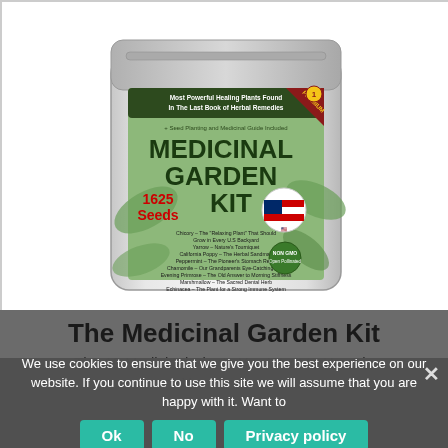[Figure (photo): Product photo of the Medicinal Garden Kit seed packet — a metallic silver resealable pouch with a green label reading 'MEDICINAL GARDEN KIT' in large dark green text, '1625 Seeds' in red, 'Most Powerful Healing Plants Found In The Last Book of Herbal Remedies', '+ Seed Planting and Medicinal Guide Included', a US flag seal, 'NON GMO Open Pollinated' badge, and a red 'PREMIUM 1' corner ribbon. The label lists 10 medicinal plants.]
The Medicinal Garden Kit
The 10 Medicinal Plants You Want to Have in Y... [Your Garden]
We use cookies to ensure that we give you the best experience on our website. If you continue to use this site we will assume that you are happy with it. Want to know more?
Ok
No
Privacy policy